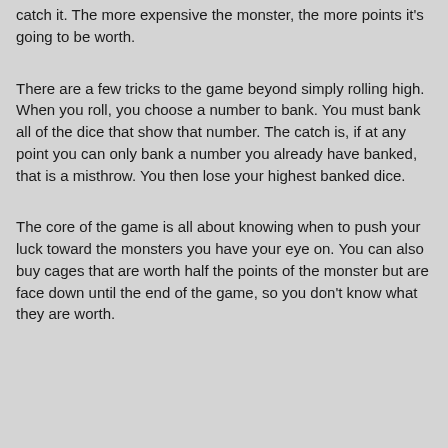catch it. The more expensive the monster, the more points it's going to be worth.
There are a few tricks to the game beyond simply rolling high. When you roll, you choose a number to bank. You must bank all of the dice that show that number. The catch is, if at any point you can only bank a number you already have banked, that is a misthrow. You then lose your highest banked dice.
The core of the game is all about knowing when to push your luck toward the monsters you have your eye on. You can also buy cages that are worth half the points of the monster but are face down until the end of the game, so you don't know what they are worth.